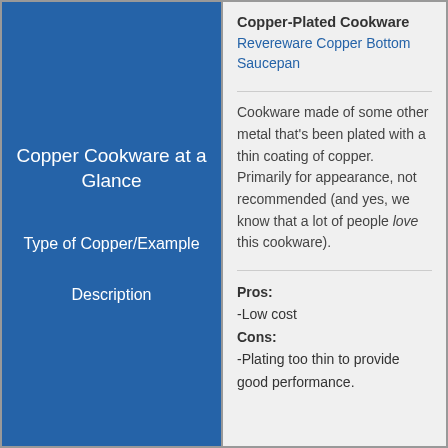Copper Cookware at a Glance
Type of Copper/Example
Description
Copper-Plated Cookware
Revereware Copper Bottom Saucepan
Cookware made of some other metal that's been plated with a thin coating of copper. Primarily for appearance, not recommended (and yes, we know that a lot of people love this cookware).
Pros: -Low cost Cons: -Plating too thin to provide good performance.